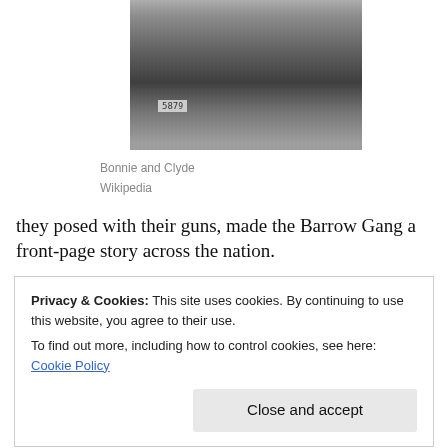[Figure (photo): Black and white photograph of Bonnie and Clyde standing next to a car with a license plate visible showing '587']
Bonnie and Clyde
Wikipedia
they posed with their guns, made the Barrow Gang a front-page story across the nation.
Privacy & Cookies: This site uses cookies. By continuing to use this website, you agree to their use.
To find out more, including how to control cookies, see here: Cookie Policy
Close and accept
from Texas to Minnesota, robbing banks and stealing cars,